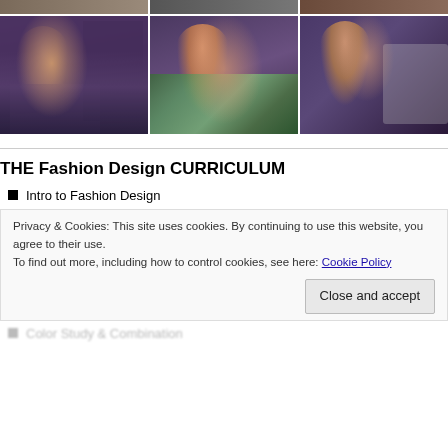[Figure (photo): Top strip of fashion photos partially visible]
[Figure (photo): Three photos of women in fashion/clothing designs in a studio with purple walls]
THE Fashion Design CURRICULUM
Intro to Fashion Design
Privacy & Cookies: This site uses cookies. By continuing to use this website, you agree to their use.
To find out more, including how to control cookies, see here: Cookie Policy
Color Study & Combination